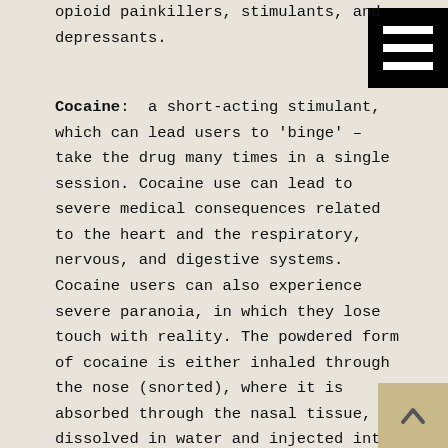opioid painkillers, stimulants, and depressants.
Cocaine:  a short-acting stimulant, which can lead users to 'binge' – take the drug many times in a single session. Cocaine use can lead to severe medical consequences related to the heart and the respiratory, nervous, and digestive systems. Cocaine users can also experience severe paranoia, in which they lose touch with reality. The powdered form of cocaine is either inhaled through the nose (snorted), where it is absorbed through the nasal tissue, or dissolved in water and injected into the bloodstream. Crack is a form of cocaine that has been processed
[Figure (other): Hamburger menu icon — black square with three white horizontal bars]
[Figure (other): Scroll to top button — tan/beige square with upward-pointing arrow]